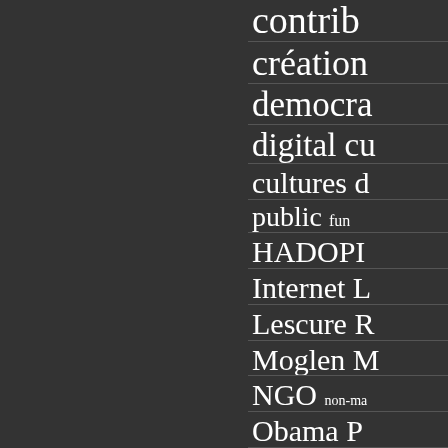[Figure (infographic): Tag cloud / index list on dark background showing partial words and phrases: contrib(ution), création, democra(cy), digital cu(ltures), cultures d(...), public fun(...), HADOPI, Internet L(...), Lescure R(...), Moglen M(...), NGO non-ma(...), Obama P(...)]
contrib
création
democra
digital cu
cultures d
public fun
HADOPI
Internet L
Lescure R
Moglen M
NGO non-ma
Obama P